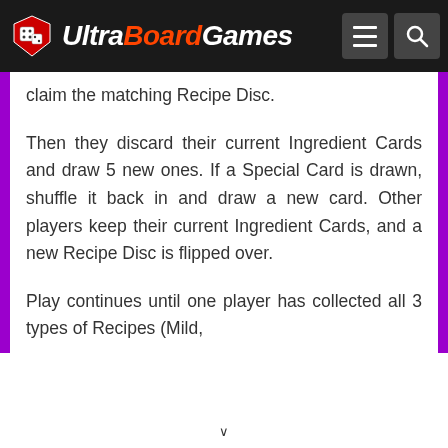UltraBoardGames
claim the matching Recipe Disc.
Then they discard their current Ingredient Cards and draw 5 new ones. If a Special Card is drawn, shuffle it back in and draw a new card. Other players keep their current Ingredient Cards, and a new Recipe Disc is flipped over.
Play continues until one player has collected all 3 types of Recipes (Mild,